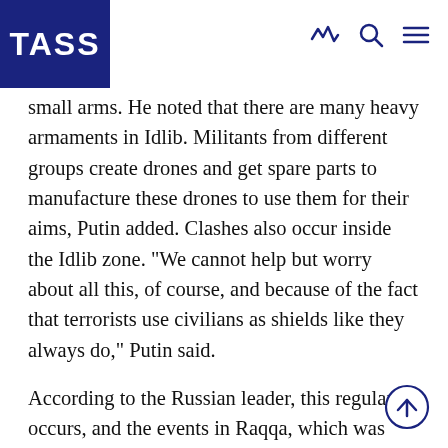TASS
small arms. He noted that there are many heavy armaments in Idlib. Militants from different groups create drones and get spare parts to manufacture these drones to use them for their aims, Putin added. Clashes also occur inside the Idlib zone. "We cannot help but worry about all this, of course, and because of the fact that terrorists use civilians as shields like they always do," Putin said.
According to the Russian leader, this regularly occurs, and the events in Raqqa, which was captured by the US-backed forces, serve as an example. "We heard then that terrorists who use civilians as shields are to blame for the deaths among the civilians," the president said.
The Russian and Syrian military has always sought to ensure the exit of the civilian population, Putin noted, thanking Turkey and Iran for coordination on this is